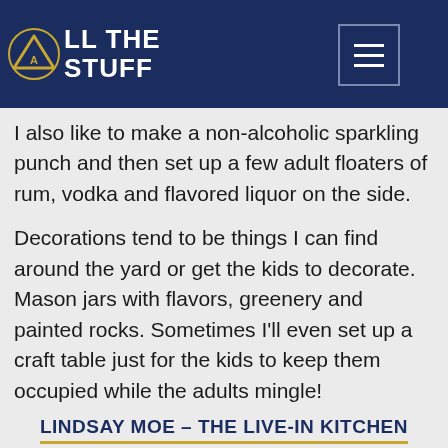ALL THE STUFF
I also like to make a non-alcoholic sparkling punch and then set up a few adult floaters of rum, vodka and flavored liquor on the side.
Decorations tend to be things I can find around the yard or get the kids to decorate. Mason jars with flavors, greenery and painted rocks. Sometimes I'll even set up a craft table just for the kids to keep them occupied while the adults mingle!
LINDSAY MOE – THE LIVE-IN KITCHEN
[Figure (photo): Photo of a person, partially visible at bottom of page]